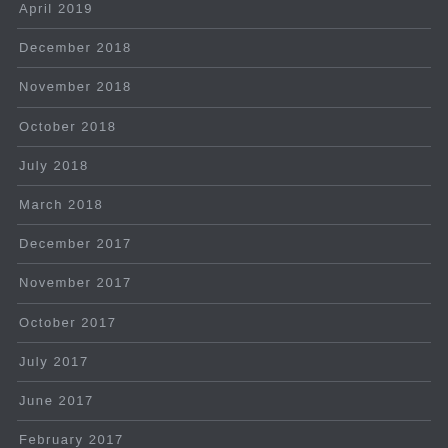April 2019
December 2018
November 2018
October 2018
July 2018
March 2018
December 2017
November 2017
October 2017
July 2017
June 2017
February 2017